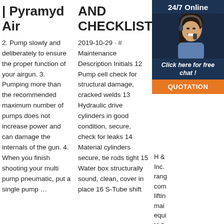| Pyramyd Air
2. Pump slowly and deliberately to ensure the proper function of your airgun. 3. Pumping more than the recommended maximum number of pumps does not increase power and can damage the internals of the gun. 4. When you finish shooting your multi pump pneumatic, put a single pump …
AND CHECKLISTS
2019-10-29 · # Maintenance Description Initials 12 Pump cell check for structural damage, cracked welds 13 Hydraulic drive cylinders in good condition, secure, check for leaks 14 Material cylinders secure, tie rods tight 15 Water box structurally sound, clean, cover in place 16 S-Tube shift
Maintenance H&P Technologies
[Figure (photo): Advertisement banner showing a woman with headset, 24/7 online chat support for H&P Technologies with orange QUOTATION button]
H & ... Inc. ... range ... com ... lifting ... main ... equi ... H & ... Inc. authorized service and repair of all brands of fluid power components and systems. ARO FLUID POWER Fluid